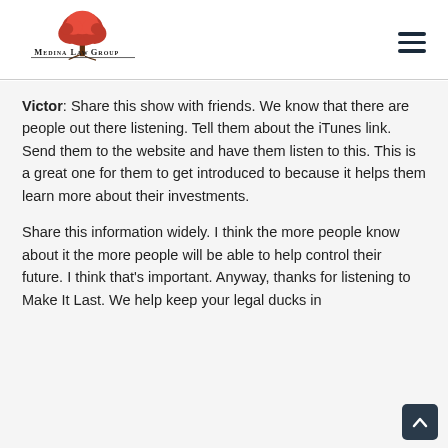[Figure (logo): Medina Law Group logo with red tree and text]
Victor: Share this show with friends. We know that there are people out there listening. Tell them about the iTunes link. Send them to the website and have them listen to this. This is a great one for them to get introduced to because it helps them learn more about their investments.
Share this information widely. I think the more people know about it the more people will be able to help control their future. I think that's important. Anyway, thanks for listening to Make It Last. We help keep your legal ducks in